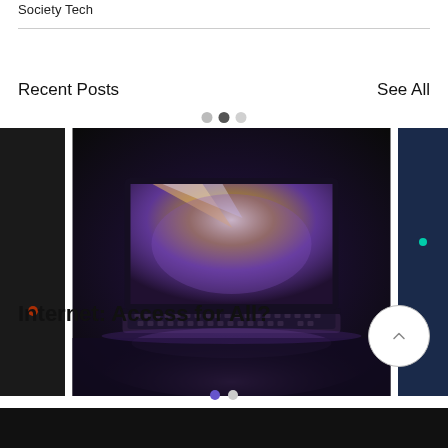Society Tech
Recent Posts
See All
[Figure (screenshot): Carousel navigation dots: three circles in a row, middle one darker]
[Figure (photo): A laptop computer photographed from above against a dark background, with colorful light reflections on the screen and keyboard area, including purple, orange, and white tones]
Internet: Access for All?
[Figure (other): Circular back/up arrow button with chevron pointing up, light grey border]
[Figure (other): Two pagination dots at bottom: one filled purple/blue, one grey]
[Figure (other): Black bar at bottom of page]